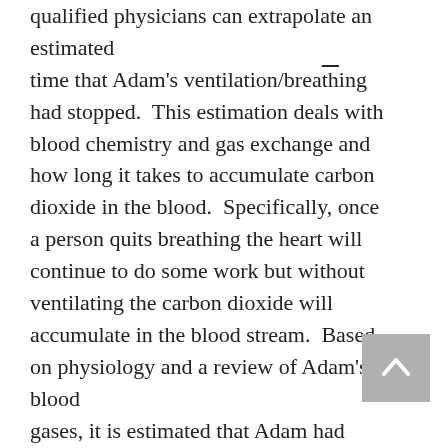qualified physicians can extrapolate an estimated time that Adam's ventilation/breathing had stopped. This estimation deals with blood chemistry and gas exchange and how long it takes to accumulate carbon dioxide in the blood. Specifically, once a person quits breathing the heart will continue to do some work but without ventilating the carbon dioxide will accumulate in the blood stream. Based on physiology and a review of Adam's blood gases, it is estimated that Adam had stopped breathing about one hour prior to the EMT intervention.